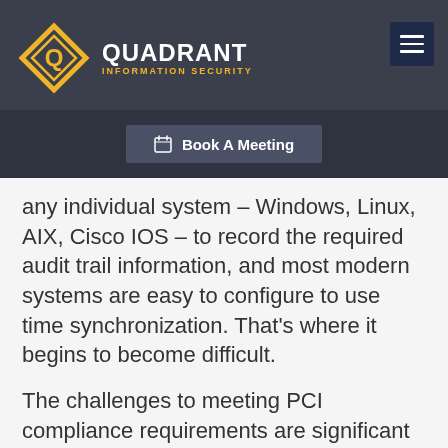QUADRANT INFORMATION SECURITY
Book A Meeting
any individual system – Windows, Linux, AIX, Cisco IOS – to record the required audit trail information, and most modern systems are easy to configure to use time synchronization. That's where it begins to become difficult.
The challenges to meeting PCI compliance requirements are significant and can have both technical and financial impact